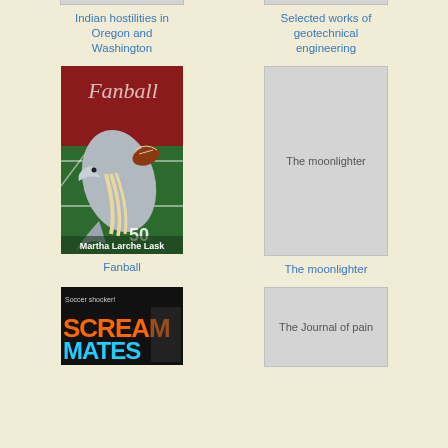[Figure (illustration): Book cover placeholder (gray rectangle) for Indian hostilities in Oregon and Washington]
Indian hostilities in Oregon and Washington
[Figure (illustration): Book cover placeholder (gray rectangle) for Selected works of geotechnical engineering]
Selected works of geotechnical engineering
[Figure (illustration): Book cover for Fanball showing a dolphin holding a football on a green field, by Martha Larche Lask]
Fanball
[Figure (illustration): Book cover placeholder (gray rectangle) with text 'The moonlighter' inside]
The moonlighter
[Figure (illustration): Book cover for Screammates with orange/yellow text on dark background]
[Figure (illustration): Book cover placeholder (gray rectangle) with text 'The Journal of pain' inside]